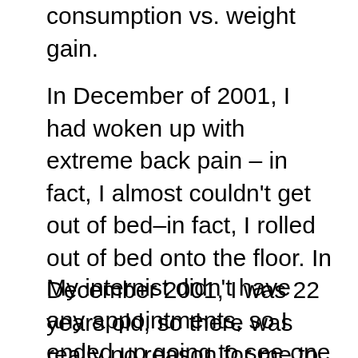Apparently, I needed a lesson in calorie consumption vs. weight gain.
In December of 2001, I had woken up with extreme back pain – in fact, I almost couldn't get out of bed–in fact, I rolled out of bed onto the floor. In December 2001, I was 22 years old, so there was really no reason for me to be in that much pain.  I was petrified as I had never been paralyzed like that.  So I called my doctor's office to see if I could get in to see the doctor.
My internist didn't have any appointments, so I ended up going to see one of her colleagues who couldn't find anything the matter with me. I really think this back pain problem was the beginning signs of the Graves disease. They took my blood